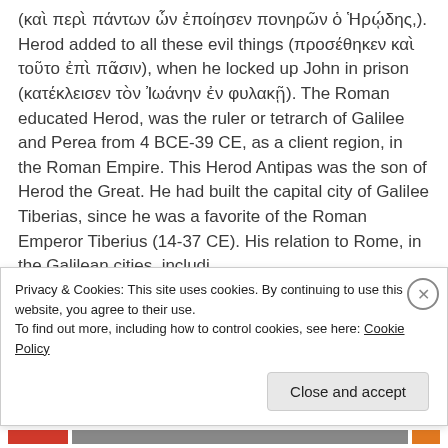(καὶ περὶ πάντων ὧν ἐποίησεν πονηρῶν ὁ Ἡρῴδης,).  Herod added to all these evil things (προσέθηκεν καὶ τοῦτο ἐπὶ πᾶσιν), when he locked up John in prison (κατέκλεισεν τὸν Ἰωάνην ἐν φυλακῇ).  The Roman educated Herod, was the ruler or tetrarch of Galilee and Perea from 4 BCE-39 CE, as a client region, in the Roman Empire.  This Herod Antipas was the son of Herod the Great.  He had built the capital city of Galilee Tiberias, since he was a favorite of the Roman Emperor Tiberius (14-37 CE). His relation to Rome, in the Galilean cities, including
Privacy & Cookies: This site uses cookies. By continuing to use this website, you agree to their use.
To find out more, including how to control cookies, see here: Cookie Policy